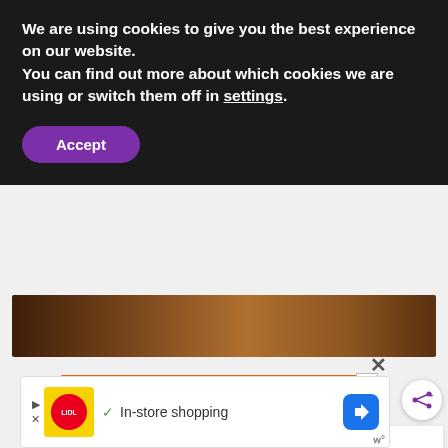We are using cookies to give you the best experience on our website.
You can find out more about which cookies we are using or switch them off in settings.
Accept
[Figure (photo): Partial view of a food/cooking related image, dark brown tones suggesting a bowl or cooking surface]
[Figure (infographic): Orange advertisement banner: 'You can help hungry kids.' with No Kid Hungry logo and 'LEARN HOW' button]
[Figure (infographic): Share button (circular white button with share icon)]
WHAT'S NEXT → 10 Tips To Stay Safe...
[Figure (infographic): Bottom advertisement: Lidl in-store shopping ad with navigation icon and close button]